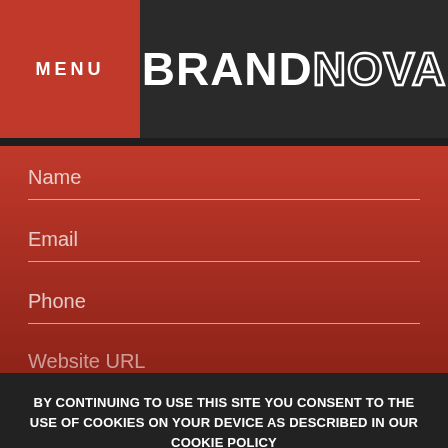MENU | BRANDNOVA
Name
Email
Phone
Website URL (partial)
BY CONTINUING TO USE THIS SITE YOU CONSENT TO THE USE OF COOKIES ON YOUR DEVICE AS DESCRIBED IN OUR COOKIE POLICY
0 SHARES